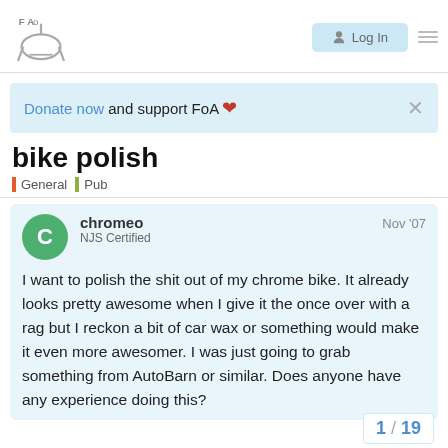FoA logo | Log In | menu
Donate now and support FoA ♥
bike polish
General | Pub
chromeo Nov '07 NJS Certified
I want to polish the shit out of my chrome bike. It already looks pretty awesome when I give it the once over with a rag but I reckon a bit of car wax or something would make it even more awesomer. I was just going to grab something from AutoBarn or similar. Does anyone have any experience doing this?
1 / 19